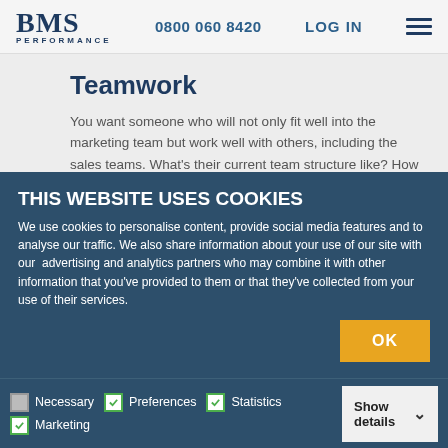BMS PERFORMANCE | 0800 060 8420 | LOG IN
Teamwork
You want someone who will not only fit well into the marketing team but work well with others, including the sales teams. What's their current team structure like? How do they like to be managed? What regular internal meetings do they have? What examples can they provide of working
THIS WEBSITE USES COOKIES
We use cookies to personalise content, provide social media features and to analyse our traffic. We also share information about your use of our site with our advertising and analytics partners who may combine it with other information that you've provided to them or that they've collected from your use of their services.
OK
Necessary | Preferences | Statistics | Marketing | Show details